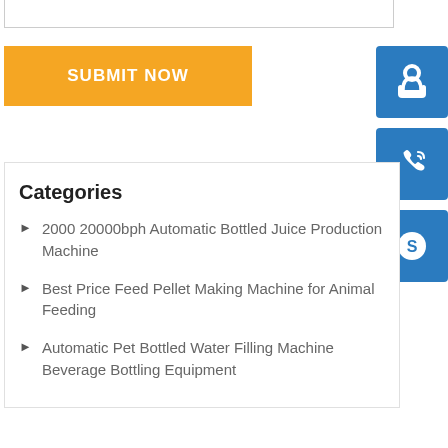[Figure (other): Submit Now button - yellow/orange background with white bold uppercase text]
[Figure (other): Blue square icon with white headset/support agent silhouette]
[Figure (other): Blue square icon with white telephone with signal waves]
[Figure (other): Blue square icon with white Skype logo]
Categories
2000 20000bph Automatic Bottled Juice Production Machine
Best Price Feed Pellet Making Machine for Animal Feeding
Automatic Pet Bottled Water Filling Machine Beverage Bottling Equipment